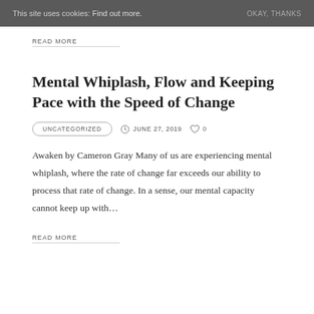This site uses cookies: Find out more.   OKAY, THANKS
READ MORE
Mental Whiplash, Flow and Keeping Pace with the Speed of Change
UNCATEGORIZED   JUNE 27, 2019   0
Awaken by Cameron Gray Many of us are experiencing mental whiplash, where the rate of change far exceeds our ability to process that rate of change. In a sense, our mental capacity cannot keep up with…
READ MORE